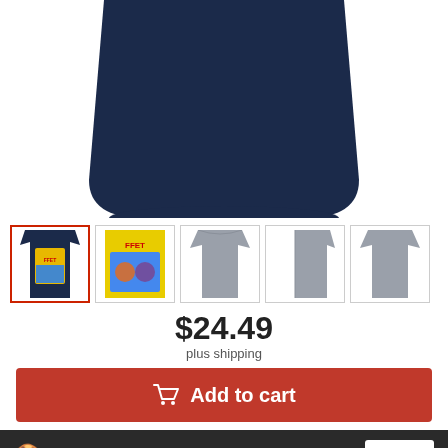[Figure (photo): Product image of dark navy t-shirt (bottom portion visible), cropped from top]
[Figure (photo): Row of 5 product thumbnail images: navy t-shirt with graphic (active/selected with red border), comic book style graphic design, plain gray t-shirt front, plain gray t-shirt side, plain gray t-shirt back]
$24.49
plus shipping
Add to cart
We use cookies
Click here to see a list of the categories of personal information we collect and what we use them for ("Notice at Collection").
Privacy Policy
Do Not Sell My Personal Information
By using this website, I agree to the Terms and Conditions
Got It